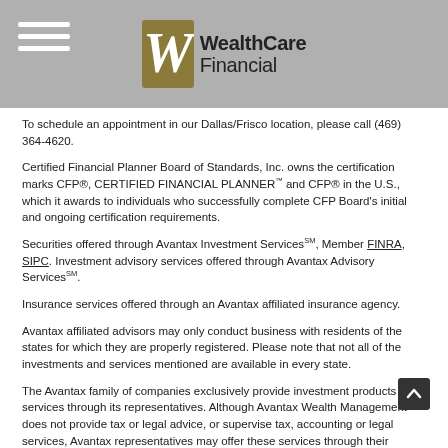WealthCare Financial
To schedule an appointment in our Dallas/Frisco location, please call (469) 364-4620.
Certified Financial Planner Board of Standards, Inc. owns the certification marks CFP®, CERTIFIED FINANCIAL PLANNER™ and CFP® in the U.S., which it awards to individuals who successfully complete CFP Board's initial and ongoing certification requirements.
Securities offered through Avantax Investment Services℠, Member FINRA, SIPC. Investment advisory services offered through Avantax Advisory Services℠.
Insurance services offered through an Avantax affiliated insurance agency.
Avantax affiliated advisors may only conduct business with residents of the states for which they are properly registered. Please note that not all of the investments and services mentioned are available in every state.
The Avantax family of companies exclusively provide investment products and services through its representatives. Although Avantax Wealth Management℠ does not provide tax or legal advice, or supervise tax, accounting or legal services, Avantax representatives may offer these services through their independent outside business.
This information is not intended as tax or legal advice. Please consult legal or